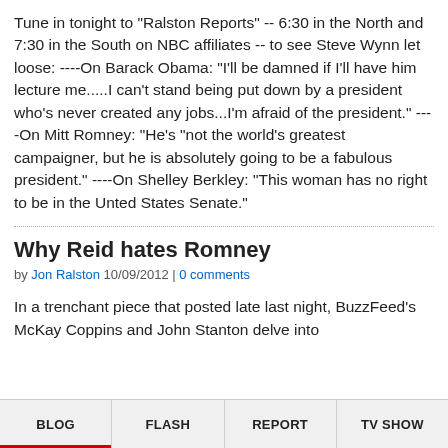Tune in tonight to "Ralston Reports" -- 6:30 in the North and 7:30 in the South on NBC affiliates -- to see Steve Wynn let loose: ----On Barack Obama: "I'll be damned if I'll have him lecture me.....I can't stand being put down by a president who's never created any jobs...I'm afraid of the president." ----On Mitt Romney: "He's "not the world's greatest campaigner, but he is absolutely going to be a fabulous president." ----On Shelley Berkley: "This woman has no right to be in the Unted States Senate."
Why Reid hates Romney
by Jon Ralston 10/09/2012 | 0 comments
In a trenchant piece that posted late last night, BuzzFeed's McKay Coppins and John Stanton delve into
BLOG   FLASH   REPORT   TV SHOW